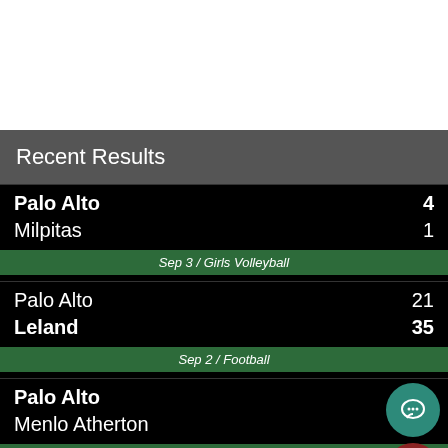Recent Results
| Team | Score |
| --- | --- |
| Palo Alto | 4 |
| Milpitas | 1 |
| Sep 3 / Girls Volleyball |  |
| Palo Alto | 21 |
| Leland | 35 |
| Sep 2 / Football |  |
| Palo Alto |  |
| Menlo Atherton |  |
| Sep 1 / Girls Water Polo |  |
| Palo Alto |  |